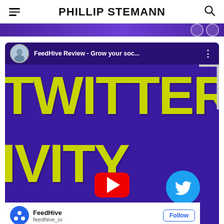PHILLIP STEMANN
[Figure (screenshot): YouTube video thumbnail screenshot showing 'FeedHive Review - Grow your soc...' with large yellow text 'TWITTERIVITY' on purple background, YouTube play button, Twitter bird icon circle, and FeedHive social media channel info bar at bottom with Follow button.]